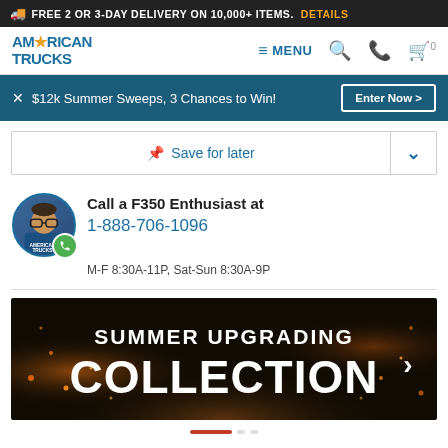FREE 2 OR 3-DAY DELIVERY ON 10,000+ ITEMS. DETAILS
[Figure (logo): American Trucks logo with navigation bar including MENU, search, phone, and cart icons]
$12k Summer Sweeps, 3 Chances to Win! Enter Now >
Save for later
Call a F350 Enthusiast at 1-888-706-1096
M-F 8:30A-11P, Sat-Sun 8:30A-9P
[Figure (illustration): Summer Upgrading Collection promotional banner with dark background and orange spark effects, with arrow chevron on right]
[Figure (infographic): Carousel navigation dots with one active red dot and inactive grey dots]